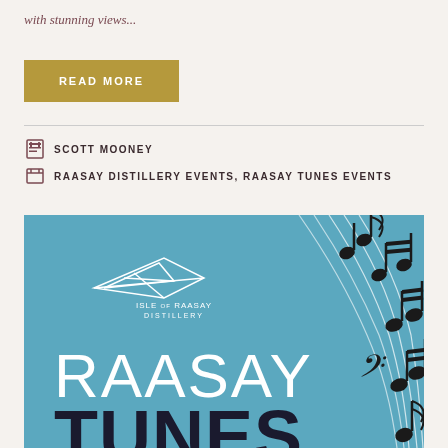with stunning views...
READ MORE
SCOTT MOONEY
RAASAY DISTILLERY EVENTS, RAASAY TUNES EVENTS
[Figure (illustration): Isle of Raasay Distillery promotional image on blue background showing the distillery logo (geometric bird/fish shape), text 'ISLE OF RAASAY DISTILLERY', large white text 'RAASAY', large black bold text 'TUNES', and decorative musical notes on staff lines on the right side]